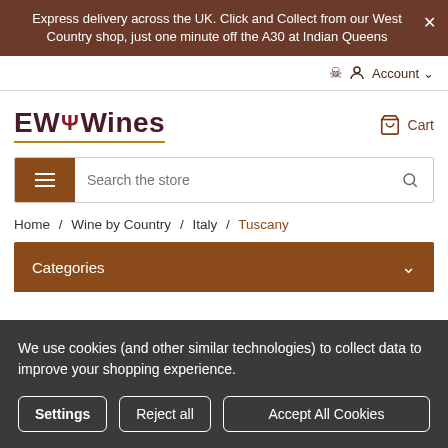Express delivery across the UK. Click and Collect from our West Country shop, just one minute off the A30 at Indian Queens
Account
[Figure (logo): EW Wines logo with stylized trident/fork icon between 'EW' and 'Wines', underlined in gold]
Cart
Search the store
Home / Wine by Country / Italy / Tuscany
Categories
We use cookies (and other similar technologies) to collect data to improve your shopping experience.
Settings
Reject all
Accept All Cookies